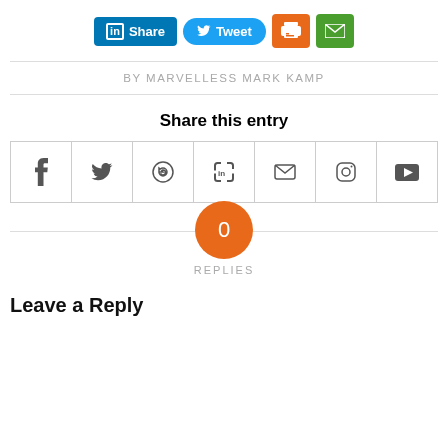[Figure (infographic): Social share buttons row: LinkedIn Share, Tweet, Print (orange), Email (green)]
BY MARVELLESS MARK KAMP
Share this entry
[Figure (infographic): Social sharing icons row: Facebook, Twitter, WhatsApp, LinkedIn, Email, Instagram, YouTube]
0 REPLIES
Leave a Reply